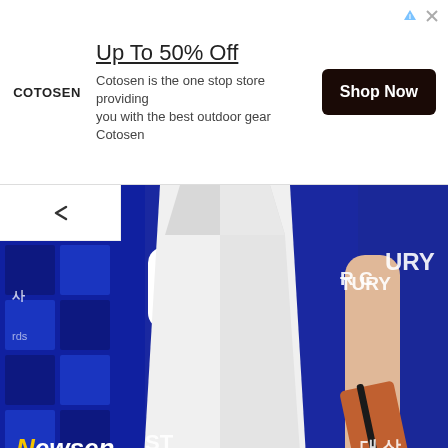[Figure (infographic): Advertisement banner for Cotosen outdoor gear store with headline 'Up To 50% Off', body text, and Shop Now button]
[Figure (photo): Close-up photo of a person in a white dress holding a rose-gold clutch at what appears to be a Korean awards ceremony (Newsen watermark visible). Blue checkered backdrop with Korean text and Kakao logo visible in background.]
[Figure (photo): Partial view of a second photo showing dark and blue tones, likely another photo from the same event.]